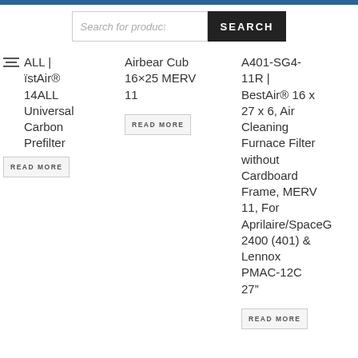Search for products... SEARCH
14ALL | BestAir® 14ALL Universal Carbon Prefilter
READ MORE
Airbear Cub 16×25 MERV 11
READ MORE
A401-SG4-11R | BestAir® 16 x 27 x 6, Air Cleaning Furnace Filter without Cardboard Frame, MERV 11, For Aprilaire/SpaceGard 2400 (401) & Lennox PMAC-12C 27"
READ MORE